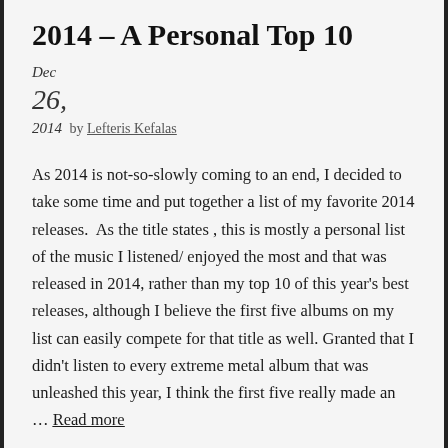2014 – A Personal Top 10
Dec
26,
2014 by Lefteris Kefalas
As 2014 is not-so-slowly coming to an end, I decided to take some time and put together a list of my favorite 2014 releases.  As the title states , this is mostly a personal list of the music I listened/ enjoyed the most and that was released in 2014, rather than my top 10 of this year's best releases, although I believe the first five albums on my list can easily compete for that title as well. Granted that I didn't listen to every extreme metal album that was unleashed this year, I think the first five really made an … Read more